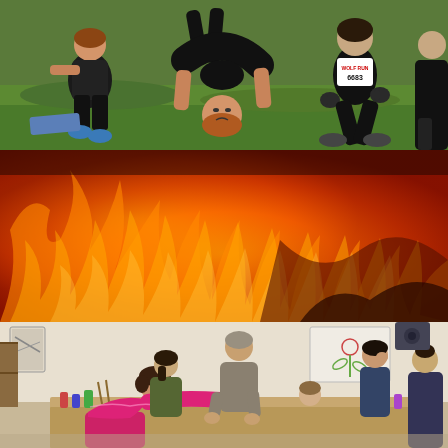[Figure (photo): Outdoor photo of people doing physical fitness activities on green grass. A person is doing a handstand/bridge pose in the center, wearing black. Another person wearing a race bib numbered 6683 (Wolf Run) is visible to the right, and another person in athletic wear is on the left.]
[Figure (photo): Close-up photo of large flames and fire, filling the entire panel with orange, red, and dark fire textures.]
[Figure (photo): Indoor photo of a group of women working together around a table in what appears to be an art class or workshop. A woman in a bright pink/magenta top is prominently in the foreground leaning over the table. Others are gathered around working on art projects. The room has white walls with artwork.]